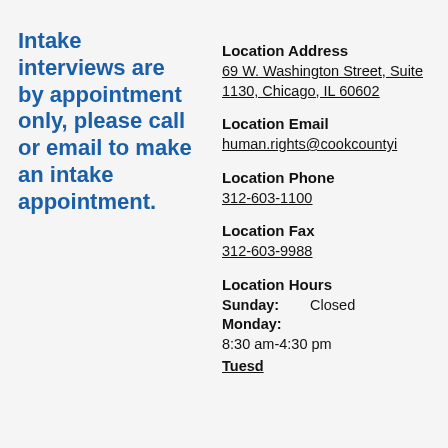Intake interviews are by appointment only, please call or email to make an intake appointment.
Location Address
69 W. Washington Street, Suite 1130, Chicago, IL 60602
Location Email
human.rights@cookcountyi
Location Phone
312-603-1100
Location Fax
312-603-9988
Location Hours
Sunday: Closed
Monday:
8:30 am-4:30 pm
Tuesday: